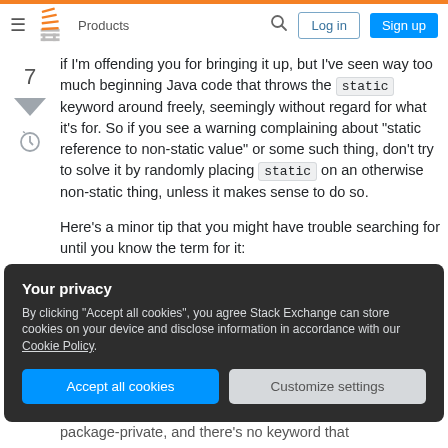Stack Overflow navigation — hamburger menu, logo, Products, search, Log in, Sign up
if I'm offending you for bringing it up, but I've seen way too much beginning Java code that throws the static keyword around freely, seemingly without regard for what it's for. So if you see a warning complaining about "static reference to non-static value" or some such thing, don't try to solve it by randomly placing static on an otherwise non-static thing, unless it makes sense to do so.
Here's a minor tip that you might have trouble searching for until you know the term for it:
[Figure (screenshot): Cookie consent overlay with dark background. Title: 'Your privacy'. Body: 'By clicking "Accept all cookies", you agree Stack Exchange can store cookies on your device and disclose information in accordance with our Cookie Policy.' Two buttons: 'Accept all cookies' (blue) and 'Customize settings' (gray).]
package-private, and there's no keyword that